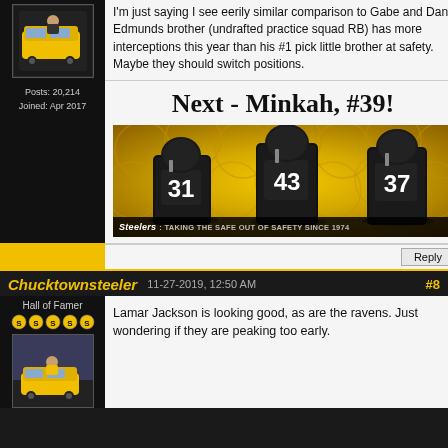I'm just saying I see eerily similar comparison to Gabe and Dan. Edmunds brother (undrafted practice squad RB) has more interceptions this year than his #1 pick little brother at safety. Maybe they should switch positions.
Next - Minkah, #39!
[Figure (photo): Steelers players wearing black and gold uniforms numbered 31, 43, 37 on a gold background. Banner reads: Steelers: TAKING THE SAFE out of SAFETY since 1974]
Reply
Chucktownsteeler   11-27-2019, 12:50 AM   #8
Hall of Famer
Lamar Jackson is looking good, as are the ravens. Just wondering if they are peaking too early.
Posts: 20,214
Joined: Apr 2017